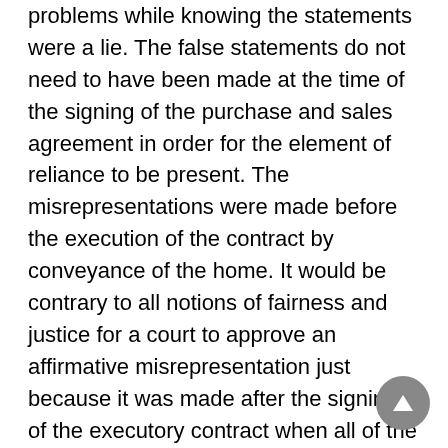problems while knowing the statements were a lie. The false statements do not need to have been made at the time of the signing of the purchase and sales agreement in order for the element of reliance to be present. The misrepresentations were made before the execution of the contract by conveyance of the home. It would be contrary to all notions of fairness and justice for a court to approve an affirmative misrepresentation just because it was made after the signing of the executory contract when all of the necessary elements for actionable fraud are present. Also, a buyer may rely on the truth of a seller's statement, even if its falsity could be discovered had the buyer conducted an investigation, unless the buyer knows the representation to be false or